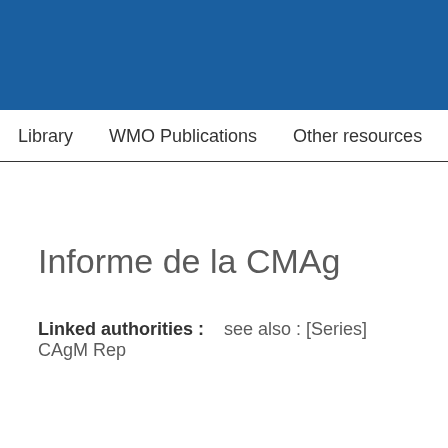Library   WMO Publications   Other resources
Informe de la CMAg
Linked authorities :   see also : [Series] CAgM Rep